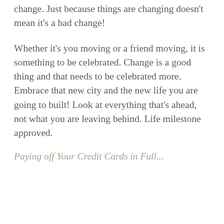change. Just because things are changing doesn't mean it's a bad change!
Whether it's you moving or a friend moving, it is something to be celebrated. Change is a good thing and that needs to be celebrated more. Embrace that new city and the new life you are going to built! Look at everything that's ahead, not what you are leaving behind. Life milestone approved.
Paying off Your Credit Cards in Full...